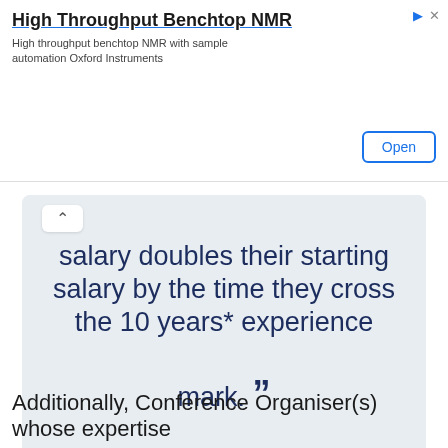[Figure (other): Advertisement banner for 'High Throughput Benchtop NMR' by Oxford Instruments with an 'Open' button]
salary doubles their starting salary by the time they cross the 10 years* experience mark. ”
* Based on the average change in salary over time. Salary variations differ from person to person.
Additionally, Conference Organiser(s) whose expertise